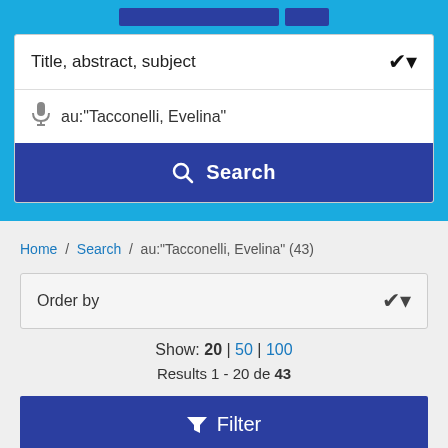[Figure (screenshot): Top blue banner with two dark blue buttons partially visible at top]
Title, abstract, subject
au:"Tacconelli, Evelina"
Search
Home / Search / au:"Tacconelli, Evelina" (43)
Order by
Show: 20 | 50 | 100
Results 1 - 20 de 43
Filter